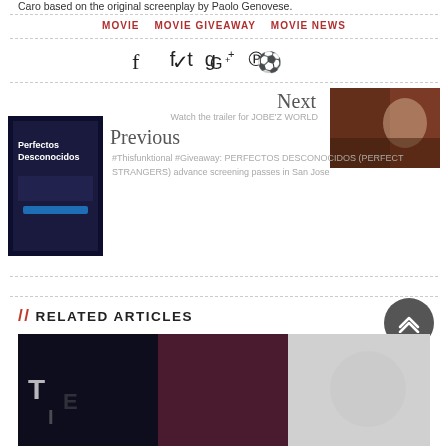Caro based on the original screenplay by Paolo Genovese.
MOVIE   MOVIE GIVEAWAY   MOVIE NEWS
[Figure (other): Social media icons: Facebook, Twitter, Google+, Pinterest]
Next
Watch the trailer for JOBE'Z WORLD
[Figure (photo): Dark reddish photo of a bald man]
Previous
[Figure (photo): Movie poster for Perfectos Desconocidos]
#Thisfunktional #Giveaway: PERFECTOS DESCONOCIDOS (PERFECT STRANGERS) advance screening passes in San Jose
// RELATED ARTICLES
[Figure (photo): Related articles thumbnail image]